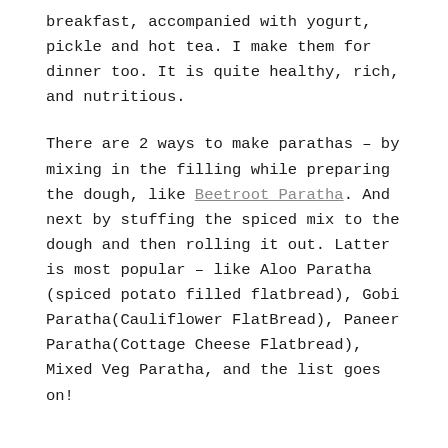breakfast, accompanied with yogurt, pickle and hot tea. I make them for dinner too. It is quite healthy, rich, and nutritious.
There are 2 ways to make parathas – by mixing in the filling while preparing the dough, like Beetroot Paratha. And next by stuffing the spiced mix to the dough and then rolling it out. Latter is most popular – like Aloo Paratha (spiced potato filled flatbread), Gobi Paratha(Cauliflower FlatBread), Paneer Paratha(Cottage Cheese Flatbread), Mixed Veg Paratha, and the list goes on!